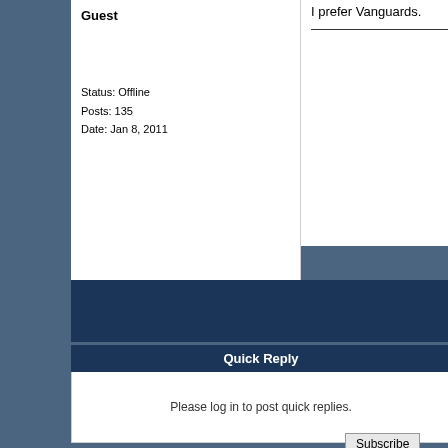Guest
Status: Offline
Posts: 135
Date: Jan 8, 2011
I prefer Vanguards.
Russ J
Southside Eq
Pressure Clean
Service C
Louisv
888-24
Quick Reply
Please log in to post quick replies.
Subscribe